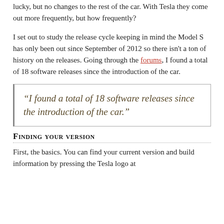lucky, but no changes to the rest of the car. With Tesla they come out more frequently, but how frequently?
I set out to study the release cycle keeping in mind the Model S has only been out since September of 2012 so there isn't a ton of history on the releases. Going through the forums, I found a total of 18 software releases since the introduction of the car.
“I found a total of 18 software releases since the introduction of the car.”
Finding your version
First, the basics. You can find your current version and build information by pressing the Tesla logo at